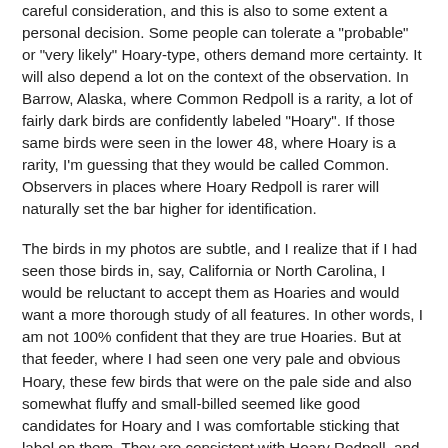careful consideration, and this is also to some extent a personal decision. Some people can tolerate a "probable" or "very likely" Hoary-type, others demand more certainty. It will also depend a lot on the context of the observation. In Barrow, Alaska, where Common Redpoll is a rarity, a lot of fairly dark birds are confidently labeled "Hoary". If those same birds were seen in the lower 48, where Hoary is a rarity, I'm guessing that they would be called Common. Observers in places where Hoary Redpoll is rarer will naturally set the bar higher for identification.
The birds in my photos are subtle, and I realize that if I had seen those birds in, say, California or North Carolina, I would be reluctant to accept them as Hoaries and would want a more thorough study of all features. In other words, I am not 100% confident that they are true Hoaries. But at that feeder, where I had seen one very pale and obvious Hoary, these few birds that were on the pale side and also somewhat fluffy and small-billed seemed like good candidates for Hoary and I was comfortable sticking that label on them. They are consistent with Hoary Redpoll, and match birds I have seen in northern Alaska. Whether they are pure Hoaries, or